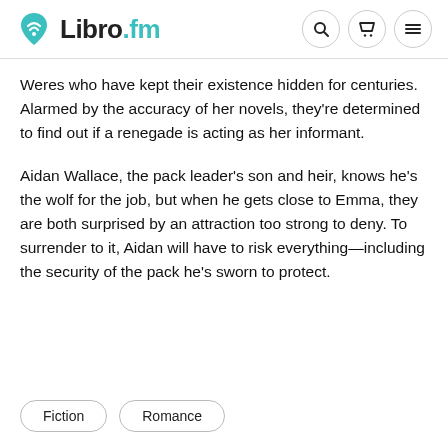Libro.fm
Weres who have kept their existence hidden for centuries. Alarmed by the accuracy of her novels, they're determined to find out if a renegade is acting as her informant.
Aidan Wallace, the pack leader's son and heir, knows he's the wolf for the job, but when he gets close to Emma, they are both surprised by an attraction too strong to deny. To surrender to it, Aidan will have to risk everything—including the security of the pack he's sworn to protect.
Fiction
Romance